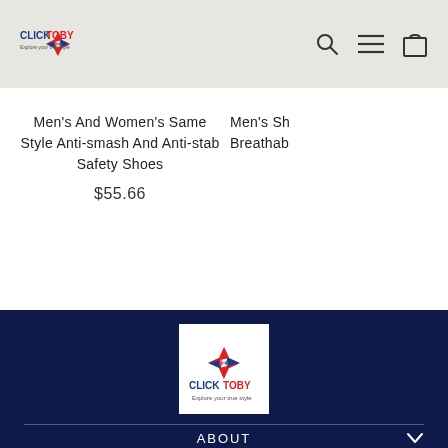CLICKTOBY - Explore your true style [header with search, menu, cart icons]
Men's And Women's Same Style Anti-smash And Anti-stab Safety Shoes
$55.66
Men's Sh Breathab
[Figure (logo): CLICKTOBY logo - red and blue pinwheel/star design with text 'CLICKTOBY' and tagline 'Explore your true style' on white background in footer]
ABOUT